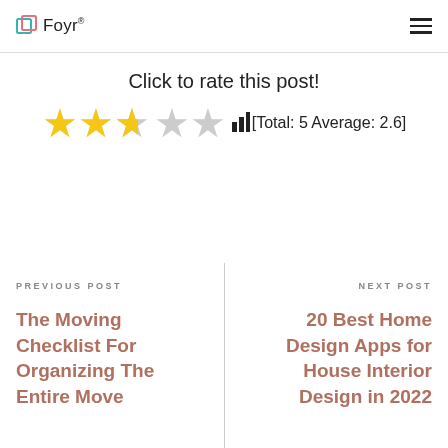Foyr®
Click to rate this post!
[Figure (other): Star rating widget showing 2.6 out of 5 stars (approximately 3 stars filled/half), with bar chart icon and text [Total: 5 Average: 2.6]]
PREVIOUS POST
The Moving Checklist For Organizing The Entire Move
NEXT POST
20 Best Home Design Apps for House Interior Design in 2022